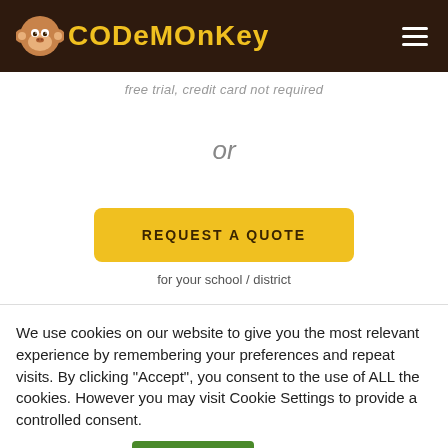CodeMonkey
free trial, credit card not required
or
REQUEST A QUOTE
for your school / district
We use cookies on our website to give you the most relevant experience by remembering your preferences and repeat visits. By clicking “Accept”, you consent to the use of ALL the cookies. However you may visit Cookie Settings to provide a controlled consent.
Cookie settings
ACCEPT